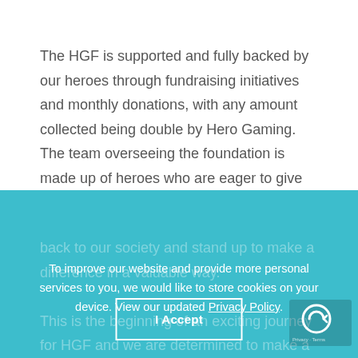The HGF is supported and fully backed by our heroes through fundraising initiatives and monthly donations, with any amount collected being double by Hero Gaming. The team overseeing the foundation is made up of heroes who are eager to give back to our society and stand up to make a difference in a valuable way.
This is the beginning of an exciting journey for HGF and we are determined to make a difference. ♥
To improve our website and provide more personal services to you, we would like to store cookies on your device. View our updated Privacy Policy.